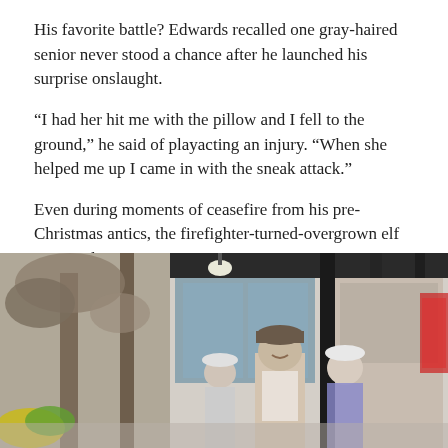His favorite battle? Edwards recalled one gray-haired senior never stood a chance after he launched his surprise onslaught.
“I had her hit me with the pillow and I fell to the ground,” he said of playacting an injury. “When she helped me up I came in with the sneak attack.”
Even during moments of ceasefire from his pre-Christmas antics, the firefighter-turned-overgrown elf managed to create a stir.
[Figure (photo): Outdoor street scene in winter, showing people on a sidewalk. A man in a baseball cap and vest is smiling, with two elderly women beside him. Background shows a storefront with glass windows and decorative trees.]